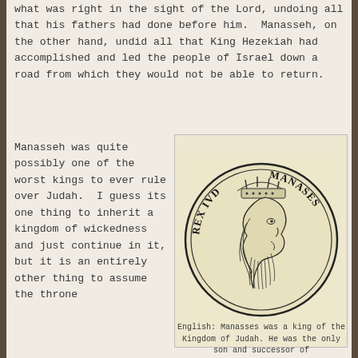what was right in the sight of the Lord, undoing all that his fathers had done before him.  Manasseh, on the other hand, undid all that King Hezekiah had accomplished and led the people of Israel down a road from which they would not be able to return.
Manasseh was quite possibly one of the worst kings to ever rule over Judah.  I guess its one thing to inherit a kingdom of wickedness and just continue in it, but it is an entirely other thing to assume the throne...
[Figure (illustration): A woodcut-style engraving of King Manasseh shown as a circular coin or medallion. The bearded king wearing a crown is depicted in profile. Text around the circle reads 'REX IVD' on the left and 'MANASES' on the right.]
English: Manasses was a king of the Kingdom of Judah. He was the only son and successor of